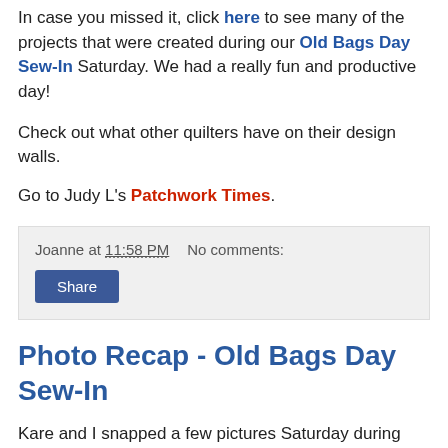In case you missed it, click here to see many of the projects that were created during our Old Bags Day Sew-In Saturday. We had a really fun and productive day!
Check out what other quilters have on their design walls.
Go to Judy L's Patchwork Times.
Joanne at 11:58 PM   No comments:
Share
Photo Recap - Old Bags Day Sew-In
Kare and I snapped a few pictures Saturday during our Old Bags Day Sew-In. Of course in retrospect, I should have taken more, but I tend to get caught up in talking things and miss some great photo ops.
These are in no particular order, but I did try to keep various angles of the same project together.